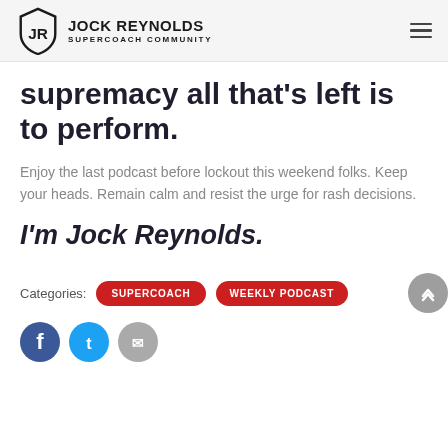JOCK REYNOLDS SUPERCOACH COMMUNITY
supremacy all that's left is to perform.
Enjoy the last podcast before lockout this weekend folks. Keep your heads. Remain calm and resist the urge for rash decisions.
I'm Jock Reynolds.
Categories: SUPERCOACH  WEEKLY PODCAST